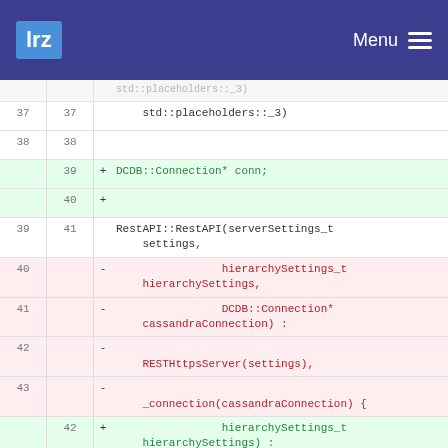lrz  Menu
Diff view showing code changes to RestAPI constructor. Lines 37-45 shown with added lines (green) and removed lines (red). Added: DCDB::Connection* conn; hierarchySettings_t hierarchySettings). Removed: hierarchySettings_t hierarchySettings, DCDB::Connection* cassandraConnection, RESTHttpsServer(settings), _connection(cassandraConnection).